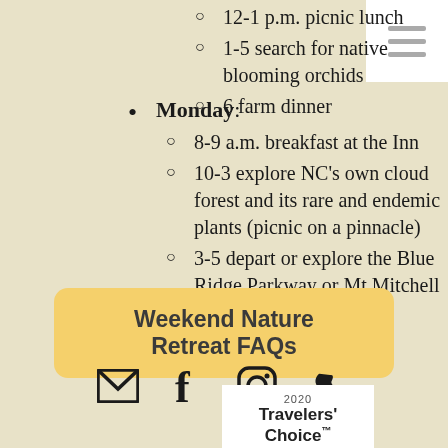12-1 p.m. picnic lunch
1-5 search for native blooming orchids
6 farm dinner
Monday: 8-9 a.m. breakfast at the Inn; 10-3 explore NC's own cloud forest and its rare and endemic plants (picnic on a pinnacle); 3-5 depart or explore the Blue Ridge Parkway or Mt Mitchell on your own
Weekend Nature Retreat FAQs
[Figure (infographic): Social media icons: email (envelope), Facebook (f), Instagram (camera circle), phone]
[Figure (logo): TripAdvisor 2020 Travelers' Choice badge with owl logo]